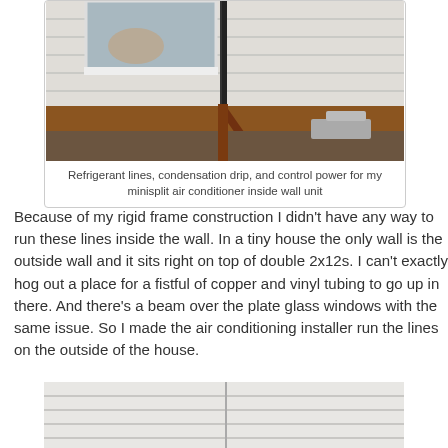[Figure (photo): Exterior photo showing refrigerant lines, condensation drip line, and control power cables running vertically along the outside wall of a house, below a window, above a red/brown deck frame structure, with white siding visible]
Refrigerant lines, condensation drip, and control power for my minisplit air conditioner inside wall unit
Because of my rigid frame construction I didn't have any way to run these lines inside the wall. In a tiny house the only wall is the outside wall and it sits right on top of double 2x12s. I can't exactly hog out a place for a fistful of copper and vinyl tubing to go up in there. And there's a beam over the plate glass windows with the same issue. So I made the air conditioning installer run the lines on the outside of the house.
[Figure (photo): Close-up exterior photo of white horizontal vinyl siding panels with a vertical seam in the middle]